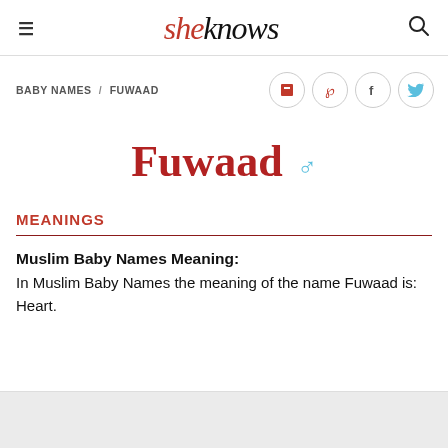sheknows
BABY NAMES / FUWAAD
Fuwaad ♂
MEANINGS
Muslim Baby Names Meaning: In Muslim Baby Names the meaning of the name Fuwaad is: Heart.